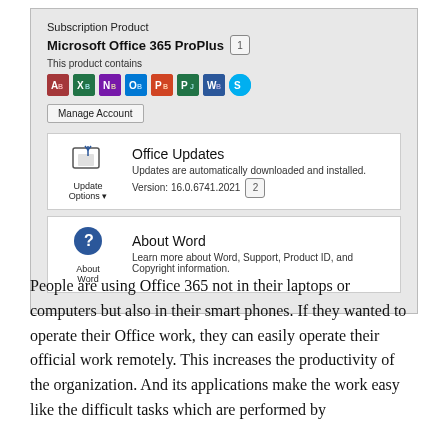[Figure (screenshot): Microsoft Office 365 ProPlus subscription panel showing product name with badge 1, app icons (Access, Excel, OneNote, Outlook, PowerPoint, Project, Word, Skype), Manage Account button, Office Updates section with badge 2 showing version 16.0.6741.2021, and About Word section.]
People are using Office 365 not in their laptops or computers but also in their smart phones. If they wanted to operate their Office work, they can easily operate their official work remotely. This increases the productivity of the organization. And its applications make the work easy like the difficult tasks which are performed by